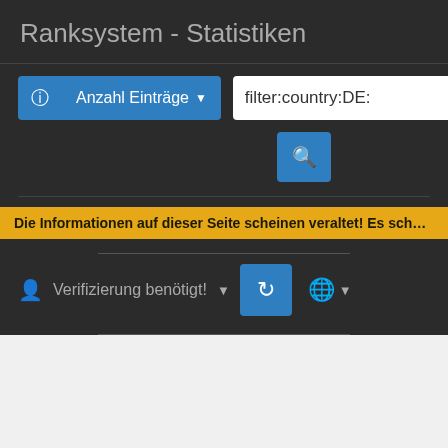Ranksystem - Statistiken
[Figure (screenshot): Search interface with info button, 'Anzahl Einträge' dropdown, and filter:country:DE: text input, with a blue search button below]
Die Informationen auf dieser Seite scheinen veraltet! Es scheint, das Ranksystem ist i…
[Figure (screenshot): User row with verification label, refresh button, and globe/language dropdown]
[Figure (screenshot): Pagination bar with previous arrow, pages 1 (active), 2, 3, 4, 5, and next arrow]